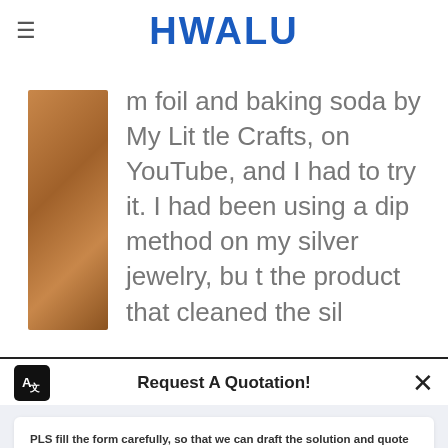HWALU
m foil and baking soda by My Little Crafts, on YouTube, and I had to try it. I had been using a dip method on my silver jewelry, but the product that cleaned the sil
Request A Quotation!
PLS fill the form carefully, so that we can draft the solution and quote the price to you quickly.
Name*
E-mail*